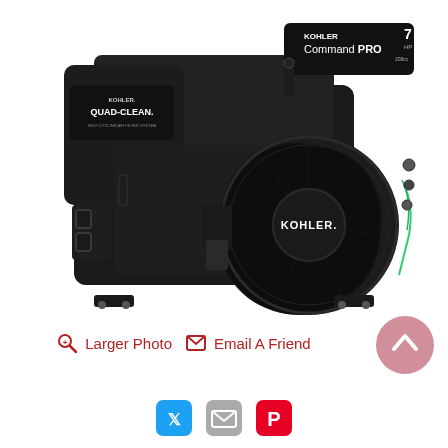[Figure (photo): Kohler Command PRO engine (7HP, 208cc) photographed from the side, showing recoil starter with KOHLER branding, Quad-Clean air filter housing, and engine components on white background.]
🔍 Larger Photo ✉ Email A Friend
[Figure (other): Scroll-to-top button: pink/rose circle with upward chevron arrow]